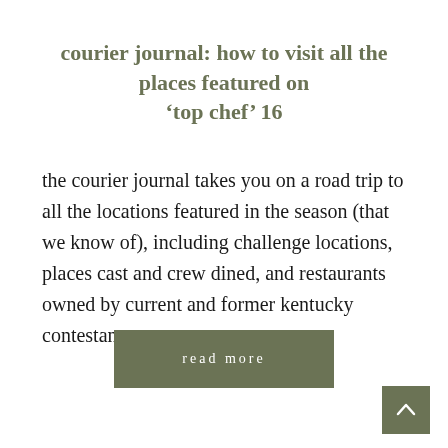courier journal: how to visit all the places featured on ‘top chef’ 16
the courier journal takes you on a road trip to all the locations featured in the season (that we know of), including challenge locations, places cast and crew dined, and restaurants owned by current and former kentucky contestants.
[Figure (other): A rectangular button with olive/sage green background containing the text 'read more' in white with letter-spacing]
[Figure (other): A small square olive/sage green button with a white upward-pointing chevron arrow, positioned bottom-right as a back-to-top navigation button]